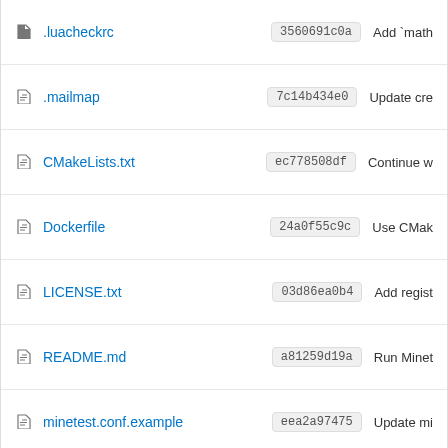.luacheckrc — 3560691c0a — Add `math
.mailmap — 7c14b434e0 — Update cre
CMakeLists.txt — ec778508df — Continue w
Dockerfile — 24a0f55c9c — Use CMak
LICENSE.txt — 03d86ea0b4 — Add regist
README.md — a81259d19a — Run Minet
minetest.conf.example — eea2a97475 — Update mi
README.md
Minetest